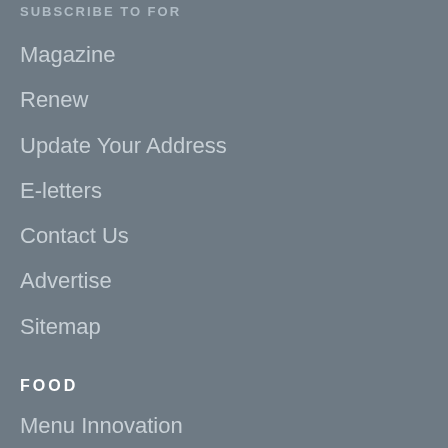SUBSCRIBE TO FOR
Magazine
Renew
Update Your Address
E-letters
Contact Us
Advertise
Sitemap
FOOD
Menu Innovation
Food Safety
Health + Nutrition
Beverage